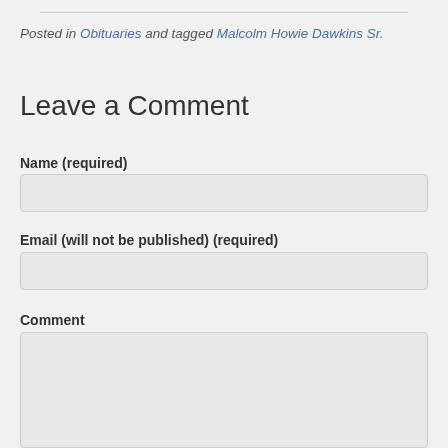Posted in Obituaries and tagged Malcolm Howie Dawkins Sr.
Leave a Comment
Name (required)
Email (will not be published) (required)
Comment